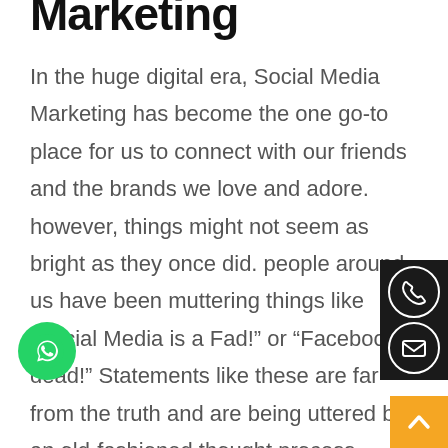Marketing
In the huge digital era, Social Media Marketing has become the one go-to place for us to connect with our friends and the brands we love and adore. however, things might not seem as bright as they once did. people around us have been muttering things like “Social Media is a Fad!” or “Facebook is dead!” Statements like these are far from the truth and are being uttered by an old-fashioned thought process. The fact is that businesses are being continuously emboldened media marketing platform they’re